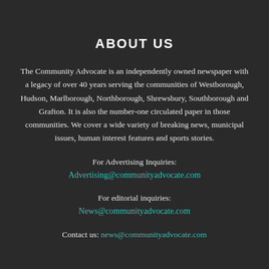ABOUT US
The Community Advocate is an independently owned newspaper with a legacy of over 40 years serving the communities of Westborough, Hudson, Marlborough, Northborough, Shrewsbury, Southborough and Grafton. It is also the number-one circulated paper in those communities. We cover a wide variety of breaking news, municipal issues, human interest features and sports stories.
For Advertising Inquiries:
Advertising@communityadvocate.com
For editorial inquiries:
News@communityadvocate.com
Contact us: news@communityadvocate.com